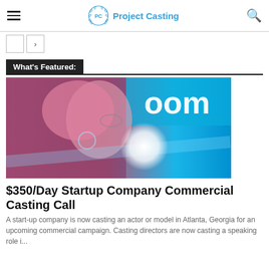Project Casting
[Figure (photo): A woman with pink/blonde hair and glasses seen in profile, with a blue neon sign in the background showing partial text 'oom'. A white glowing circle blur is visible in the foreground.]
What's Featured:
$350/Day Startup Company Commercial Casting Call
A start-up company is now casting an actor or model in Atlanta, Georgia for an upcoming commercial campaign. Casting directors are now casting a speaking role i...